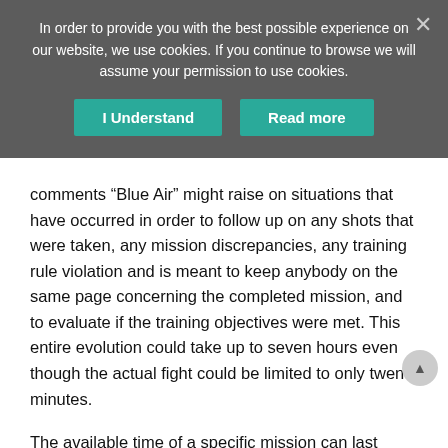In order to provide you with the best possible experience on our website, we use cookies. If you continue to browse we will assume your permission to use cookies.
I Understand | Read more
comments “Blue Air” might raise on situations that have occurred in order to follow up on any shots that were taken, any mission discrepancies, any training rule violation and is meant to keep anybody on the same page concerning the completed mission, and to evaluate if the training objectives were met. This entire evolution could take up to seven hours even though the actual fight could be limited to only twenty minutes.
The available time of a specific mission can last somewhere between twenty minutes until three hours. The fuel load however of an F-5 is sufficient to keep the aircraft within that area varying from twenty minutes up to an hour depending on the fuel consumption required for the sortie depending on the application of the afterburner.